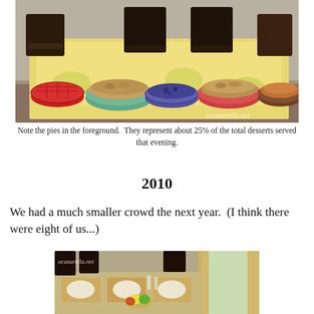[Figure (photo): A dining table set with a yellow/floral tablecloth and multiple pies in the foreground including fruit and crumble pies. Dark wooden chairs visible. Watermark 'acasarella.net' in bottom right corner.]
Note the pies in the foreground.  They represent about 25% of the total desserts served that evening.
2010
We had a much smaller crowd the next year.  (I think there were eight of us...)
[Figure (photo): A dining table set with floral placemats and fruit centerpiece. Dark wooden chairs. Natural light from window. Watermark 'acasarella.net' in top left corner.]